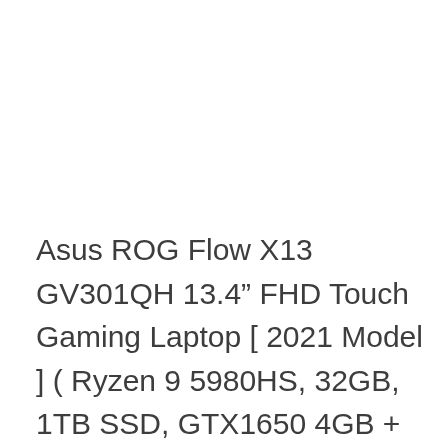Asus ROG Flow X13 GV301QH 13.4” FHD Touch Gaming Laptop [ 2021 Model ] ( Ryzen 9 5980HS, 32GB, 1TB SSD, GTX1650 4GB + RTX3080, W10, HS )